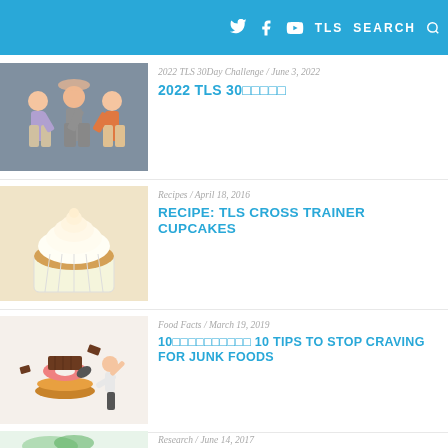TLS SEARCH
[Figure (photo): People high-fiving in a gym, fitness/workout setting]
2022 TLS 30Day Challenge / June 3, 2022
2022 TLS 30◻◻◻◻◻
[Figure (photo): A cupcake with white frosting swirl on top]
Recipes / April 18, 2016
RECIPE: TLS CROSS TRAINER CUPCAKES
[Figure (photo): A person kicking an exploding stack of junk food (donuts, burgers, chocolate)]
Food Facts / March 19, 2019
10◻◻◻◻◻◻◻◻◻◻ 10 TIPS TO STOP CRAVING FOR JUNK FOODS
[Figure (illustration): Gut microbiome illustration with colorful bacteria figures on a globe-like structure]
Research / June 14, 2017
GUT MICROBIOME